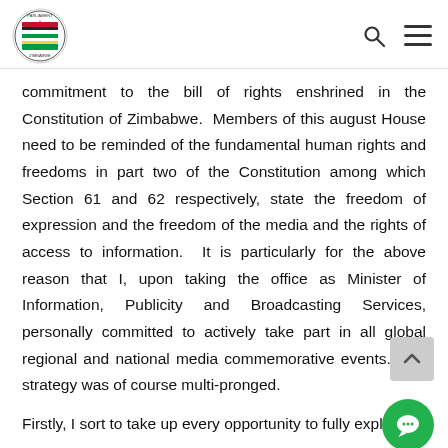Parliament of Zimbabwe - logo and navigation
commitment to the bill of rights enshrined in the Constitution of Zimbabwe. Members of this august House need to be reminded of the fundamental human rights and freedoms in part two of the Constitution among which Section 61 and 62 respectively, state the freedom of expression and the freedom of the media and the rights of access to information. It is particularly for the above reason that I, upon taking the office as Minister of Information, Publicity and Broadcasting Services, personally committed to actively take part in all global regional and national media commemorative events. This strategy was of course multi-pronged.
Firstly, I sort to take up every opportunity to fully explain to media practitioners and stakeholders of the Government